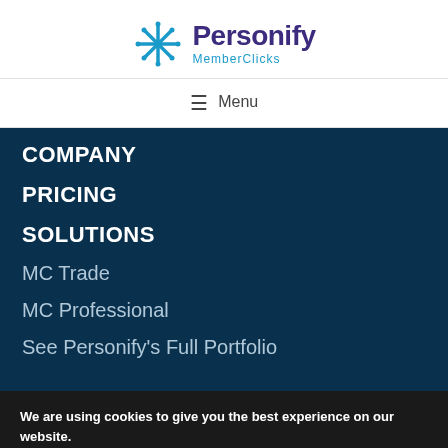[Figure (logo): Personify MemberClicks logo with snowflake-like blue icon and purple/blue text]
≡ Menu
COMPANY
PRICING
SOLUTIONS
MC Trade
MC Professional
See Personify's Full Portfolio
We are using cookies to give you the best experience on our website.
You can find out more about which cookies we are using or switch them off in settings.
Accept